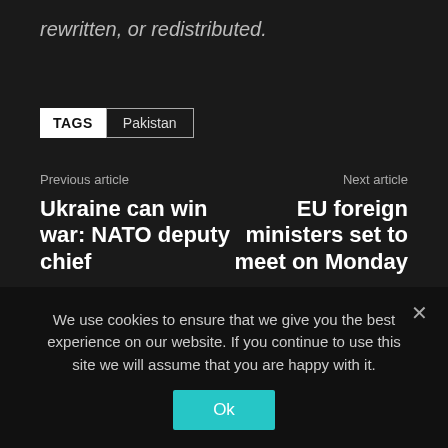rewritten, or redistributed.
TAGS  Pakistan
Previous article
Ukraine can win war: NATO deputy chief
Next article
EU foreign ministers set to meet on Monday
RELATED ARTICLES
MORE FROM AUTHOR
China, Pakistan vow to support each
We use cookies to ensure that we give you the best experience on our website. If you continue to use this site we will assume that you are happy with it.